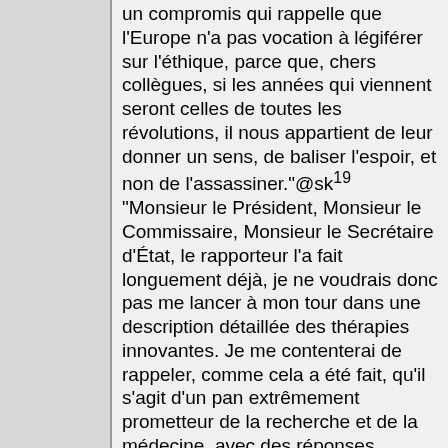un compromis qui rappelle que l'Europe n'a pas vocation à légiférer sur l'éthique, parce que, chers collègues, si les années qui viennent seront celles de toutes les révolutions, il nous appartient de leur donner un sens, de baliser l'espoir, et non de l'assassiner."@sk¹⁹ "Monsieur le Président, Monsieur le Commissaire, Monsieur le Secrétaire d'État, le rapporteur l'a fait longuement déjà, je ne voudrais donc pas me lancer à mon tour dans une description détaillée des thérapies innovantes. Je me contenterai de rappeler, comme cela a été fait, qu'il s'agit d'un pan extrêmement prometteur de la recherche et de la médecine, avec des réponses concrètes pour les grands brûlés, les patients atteints d'ulcères veineux, de diabète, de maladies héréditaires, de maladies cardiovasculaires,